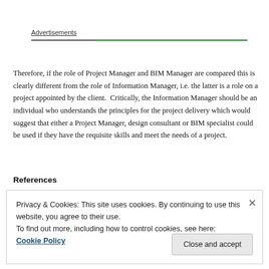Advertisements
Therefore, if the role of Project Manager and BIM Manager are compared this is clearly different from the role of Information Manager, i.e. the latter is a role on a project appointed by the client.  Critically, the Information Manager should be an individual who understands the principles for the project delivery which would suggest that either a Project Manager, design consultant or BIM specialist could be used if they have the requisite skills and meet the needs of a project.
References
Privacy & Cookies: This site uses cookies. By continuing to use this website, you agree to their use.
To find out more, including how to control cookies, see here: Cookie Policy
Close and accept